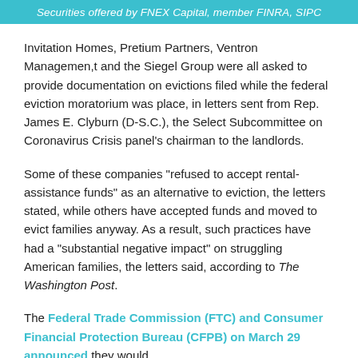Securities offered by FNEX Capital, member FINRA, SIPC
Invitation Homes, Pretium Partners, Ventron Managemen,t and the Siegel Group were all asked to provide documentation on evictions filed while the federal eviction moratorium was place, in letters sent from Rep. James E. Clyburn (D-S.C.), the Select Subcommittee on Coronavirus Crisis panel's chairman to the landlords.
Some of these companies "refused to accept rental-assistance funds" as an alternative to eviction, the letters stated, while others have accepted funds and moved to evict families anyway. As a result, such practices have had a "substantial negative impact" on struggling American families, the letters said, according to The Washington Post.
The Federal Trade Commission (FTC) and Consumer Financial Protection Bureau (CFPB) on March 29 announced they would